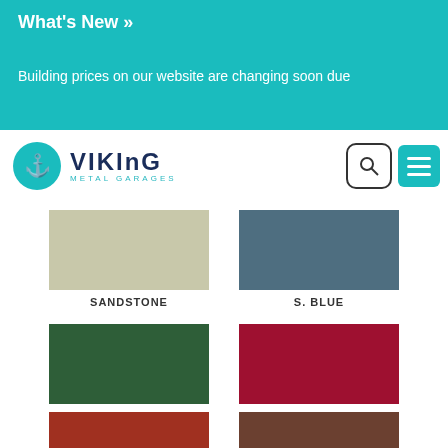What's New »
Building prices on our website are changing soon due
[Figure (logo): Viking Metal Garages logo with teal circular emblem and dark blue text]
[Figure (infographic): Color swatches grid showing: SANDSTONE (beige/tan), S. BLUE (steel blue), E. GREEN (evergreen dark green), CARDINAL RED (deep red), TRUE BURGUNDY (dark burgundy red), E. BROWN (dark chocolate brown), and two partial swatches at bottom (terracotta/rust and medium brown)]